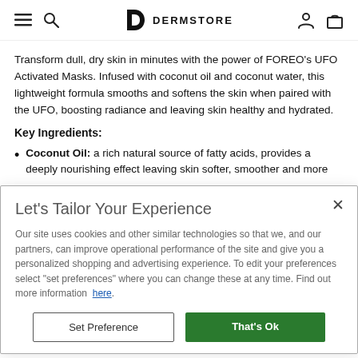DERMSTORE (navigation bar with hamburger, search, logo, account, and cart icons)
Transform dull, dry skin in minutes with the power of FOREO's UFO Activated Masks. Infused with coconut oil and coconut water, this lightweight formula smooths and softens the skin when paired with the UFO, boosting radiance and leaving skin healthy and hydrated.
Key Ingredients:
Coconut Oil: a rich natural source of fatty acids, provides a deeply nourishing effect leaving skin softer, smoother and more
Let's Tailor Your Experience
Our site uses cookies and other similar technologies so that we, and our partners, can improve operational performance of the site and give you a personalized shopping and advertising experience. To edit your preferences select "set preferences" where you can change these at any time. Find out more information here.
Set Preference | That's Ok